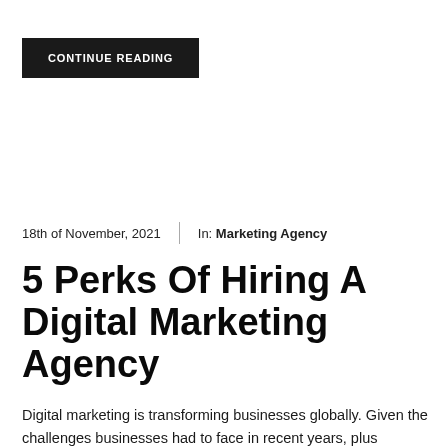CONTINUE READING
18th of November, 2021 | In: Marketing Agency
5 Perks Of Hiring A Digital Marketing Agency
Digital marketing is transforming businesses globally. Given the challenges businesses had to face in recent years, plus